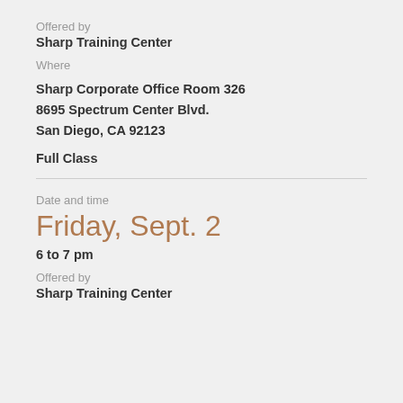Offered by
Sharp Training Center
Where
Sharp Corporate Office Room 326
8695 Spectrum Center Blvd.
San Diego, CA 92123
Full Class
Date and time
Friday, Sept. 2
6 to 7 pm
Offered by
Sharp Training Center